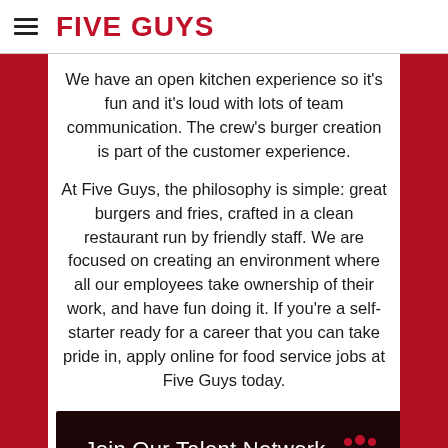[Figure (logo): Five Guys logo with hamburger menu icon on the left and bold red 'FIVE GUYS' text on the right]
We have an open kitchen experience so it's fun and it's loud with lots of team communication. The crew's burger creation is part of the customer experience.
At Five Guys, the philosophy is simple: great burgers and fries, crafted in a clean restaurant run by friendly staff. We are focused on creating an environment where all our employees take ownership of their work, and have fun doing it. If you're a self-starter ready for a career that you can take pride in, apply online for food service jobs at Five Guys today.
[Figure (infographic): Dark red banner with white text 'Join Our Talent Network' and red silhouette people icon on the right]